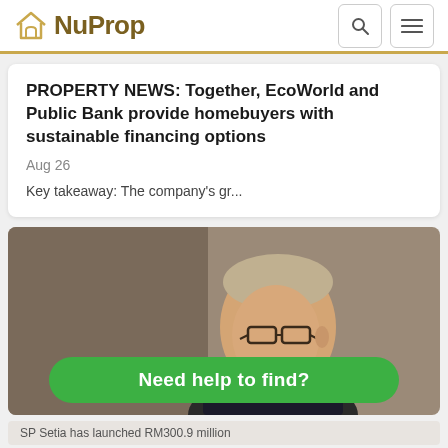NuProp
PROPERTY NEWS: Together, EcoWorld and Public Bank provide homebuyers with sustainable financing options
Aug 26
Key takeaway: The company's gr...
[Figure (photo): A man with glasses and short grey hair speaking at a podium with a microphone, wearing a dark suit]
Need help to find?
SP Setia has launched RM300.9 million